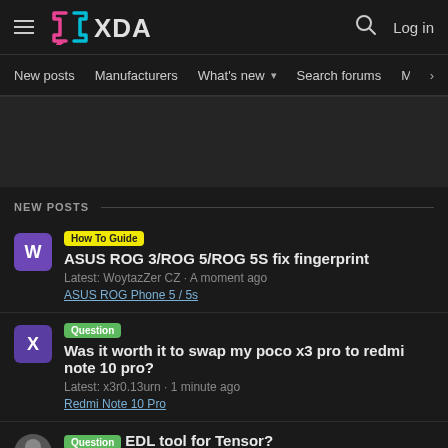XDA Developers - New posts, Manufacturers, What's new, Search forums, Members, Log in
NEW POSTS
How To Guide ASUS ROG 3/ROG 5/ROG 5S fix fingerprint | Latest: WoytazZer CZ · A moment ago | ASUS ROG Phone 5 / 5s
Question Was it worth it to swap my poco x3 pro to redmi note 10 pro? | Latest: x3r0.13urn · 1 minute ago | Redmi Note 10 Pro
Question EDL tool for Tensor?